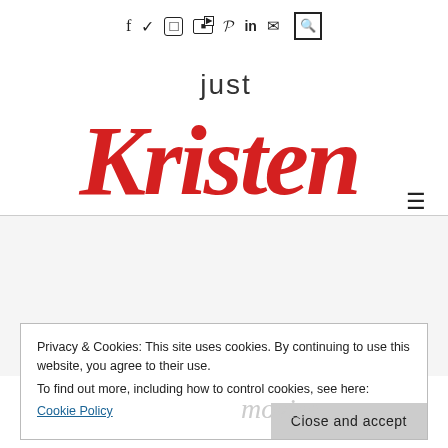Social media icons: f (Facebook), Twitter, Instagram, YouTube, Pinterest, LinkedIn, Email, Search
[Figure (logo): Just Kristen blog logo — 'just' in dark gray sans-serif above 'Kristen' in large red cursive script]
Privacy & Cookies: This site uses cookies. By continuing to use this website, you agree to their use.
To find out more, including how to control cookies, see here:
Cookie Policy
Close and accept